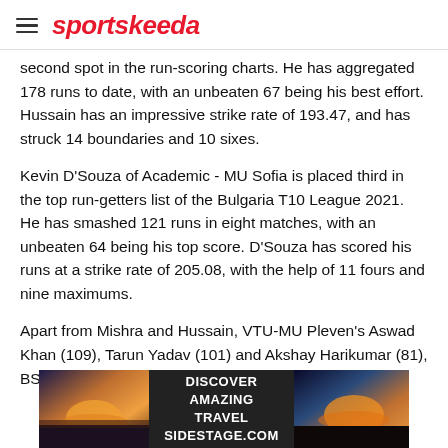sportskeeda
second spot in the run-scoring charts. He has aggregated 178 runs to date, with an unbeaten 67 being his best effort. Hussain has an impressive strike rate of 193.47, and has struck 14 boundaries and 10 sixes.
Kevin D'Souza of Academic - MU Sofia is placed third in the top run-getters list of the Bulgaria T10 League 2021. He has smashed 121 runs in eight matches, with an unbeaten 64 being his top score. D'Souza has scored his runs at a strike rate of 205.08, with the help of 11 fours and nine maximums.
Apart from Mishra and Hussain, VTU-MU Pleven's Aswad Khan (109), Tarun Yadav (101) and Akshay Harikumar (81), BSCU - MU Plovdiv's Sulaiman Ali (97), the Indo-
[Figure (other): Advertisement banner for travel website sidestage.com with sunset/landscape images on left and right sides and text 'DISCOVER AMAZING TRAVEL SIDESTAGE.COM' in center]